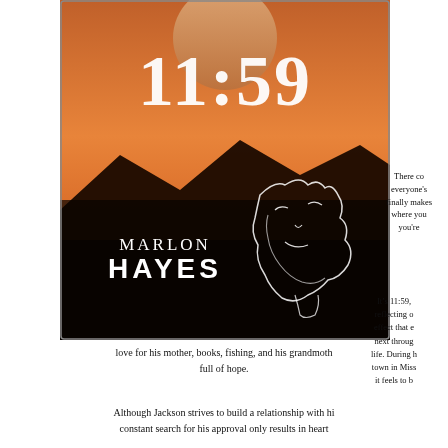[Figure (illustration): Book cover for '11:59' by Marlon Hayes. Dark landscape with orange/sunset sky and mountains in silhouette. Large white text '11:59' at top. Author name 'MARLON HAYES' in white at bottom left. A continuous line drawing of two faces/profiles on the right side.]
There co everyone's finally makes where you you're
It's 11:59, reflecting o effect that e next throug life. During h town in Miss it feels to b love for his mother, books, fishing, and his grandmoth full of hope.
Although Jackson strives to build a relationship with hi constant search for his approval only results in heart